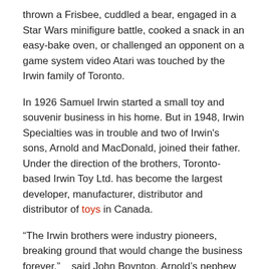thrown a Frisbee, cuddled a bear, engaged in a Star Wars minifigure battle, cooked a snack in an easy-bake oven, or challenged an opponent on a game system video Atari was touched by the Irwin family of Toronto.
In 1926 Samuel Irwin started a small toy and souvenir business in his home. But in 1948, Irwin Specialties was in trouble and two of Irwin's sons, Arnold and MacDonald, joined their father. Under the direction of the brothers, Toronto-based Irwin Toy Ltd. has become the largest developer, manufacturer, distributor and distributor of toys in Canada.
“The Irwin brothers were industry pioneers, breaking ground that would change the business forever,” said John Boynton, Arnold’s nephew and vice president of NordStar, owner of the Toronto Star.
Born in Toronto in 1926 to Samuel and Beatrice Irwin, Arnold Beatty Irwin was the older brother of MacDonald (Mac), Bryan and Marilyn. He attended Forest Hill Collegiate and the University of Toronto, where he studied actuarial science and played hockey. His daughter, Marylynn Boyle, says he was known for his “nudging”.